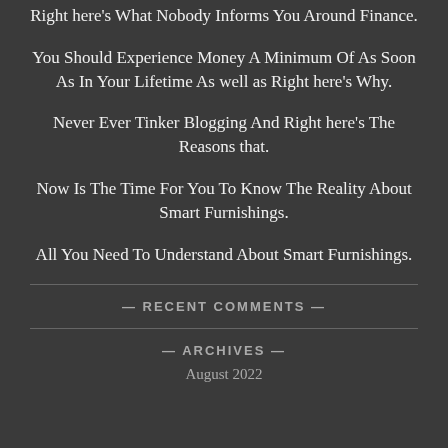Right here's What Nobody Informs You Around Finance.
You Should Experience Money A Minimum Of As Soon As In Your Lifetime As well as Right here's Why.
Never Ever Tinker Blogging And Right here's The Reasons that.
Now Is The Time For You To Know The Reality About Smart Furnishings.
All You Need To Understand About Smart Furnishings.
— RECENT COMMENTS —
— ARCHIVES —
August 2022